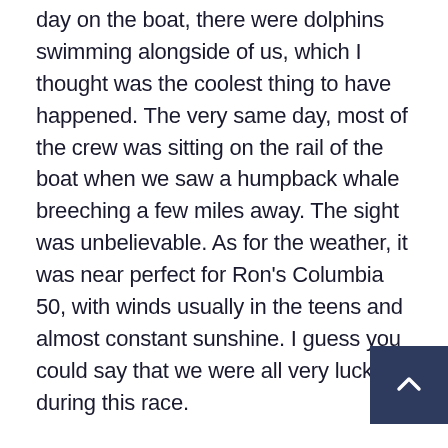day on the boat, there were dolphins swimming alongside of us, which I thought was the coolest thing to have happened. The very same day, most of the crew was sitting on the rail of the boat when we saw a humpback whale breeching a few miles away. The sight was unbelievable. As for the weather, it was near perfect for Ron's Columbia 50, with winds usually in the teens and almost constant sunshine. I guess you could say that we were all very lucky during this race.
Hotspur II finished second in Class C and second in Founders Division overall. Capt. Ron was most proud of winning first in celestial navigation, which garnered him two trophies. He worked so hard doing the navigation, which I figured was fairly difficult because I didn't understand a word he was saying when he tried explaining it to me. I am so